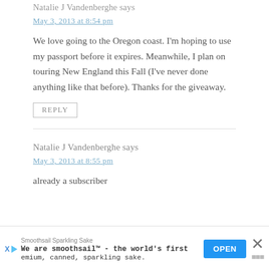Natalie J Vandenberghe says
May 3, 2013 at 8:54 pm
We love going to the Oregon coast. I'm hoping to use my passport before it expires. Meanwhile, I plan on touring New England this Fall (I've never done anything like that before). Thanks for the giveaway.
REPLY
Natalie J Vandenberghe says
May 3, 2013 at 8:55 pm
already a subscriber
[Figure (other): Advertisement banner for Smoothsail Sparkling Sake with OPEN button and close X]